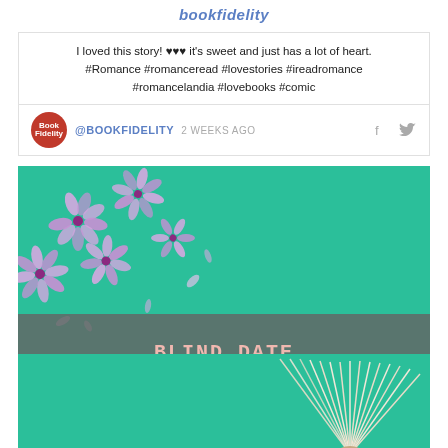bookfidelity
I loved this story! ♥♥♥ it's sweet and just has a lot of heart. #Romance #romanceread #lovestories #ireadromance #romancelandia #lovebooks #comic
@BOOKFIDELITY 2 WEEKS AGO
[Figure (photo): Promotional image for 'Blind Date With A Book For $10' showing purple flowers on a teal/mint green background with a gray banner overlay containing the text, and an open book visible at the bottom right]